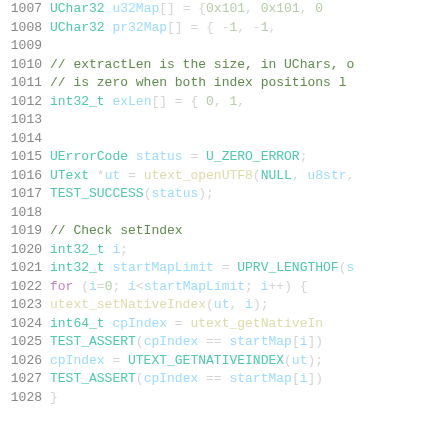[Figure (screenshot): Source code listing showing C++ code lines 1007-1028. Code includes array declarations (u32Map, pr32Map, exLen), UErrorCode and UText variable initialization, and a for-loop checking setIndex with utext_setNativeIndex, utext_getNativeIndex, TEST_ASSERT, and UTEXT_GETNATIVEINDEX calls.]